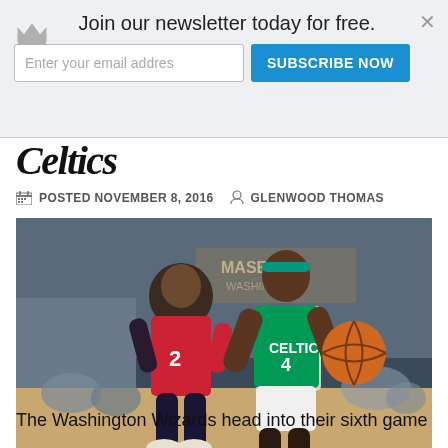Join our newsletter today for free.
Enter your email addres
SUBSCRIBE NOW
×
Celtics
POSTED NOVEMBER 8, 2016   GLENWOOD THOMAS
[Figure (photo): Basketball game photo: A Boston Celtics player (#4, wearing green uniform and teal headband) drives past a Washington Wizards player (#2, red uniform) during an NBA game in an arena with spectators in the background.]
Tweet
The Washington Wizards head into their sixth game